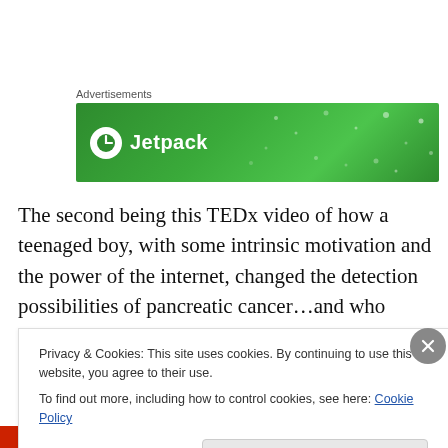Advertisements
[Figure (other): Green advertisement banner for Jetpack service with logo and brand name on green background with decorative dots]
The second being this TEDx video of how a teenaged boy, with some intrinsic motivation and the power of the internet, changed the detection possibilities of pancreatic cancer…and who knows what else:
Watch it here:
Privacy & Cookies: This site uses cookies. By continuing to use this website, you agree to their use.
To find out more, including how to control cookies, see here: Cookie Policy
Close and accept